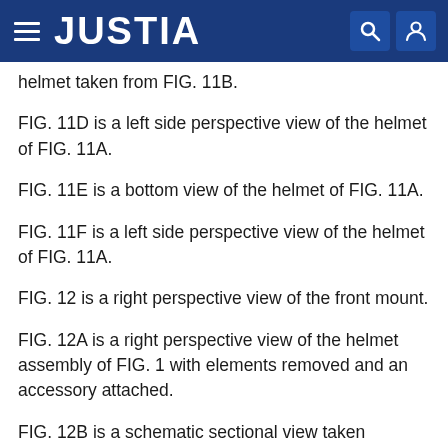JUSTIA
helmet taken from FIG. 11B.
FIG. 11D is a left side perspective view of the helmet of FIG. 11A.
FIG. 11E is a bottom view of the helmet of FIG. 11A.
FIG. 11F is a left side perspective view of the helmet of FIG. 11A.
FIG. 12 is a right perspective view of the front mount.
FIG. 12A is a right perspective view of the helmet assembly of FIG. 1 with elements removed and an accessory attached.
FIG. 12B is a schematic sectional view taken generally along line 12B-12B of FIG. 12.